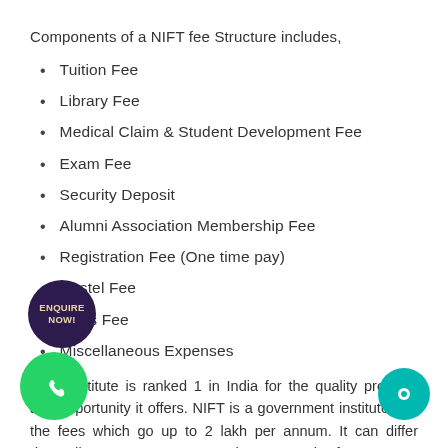Components of a NIFT fee Structure includes,
Tuition Fee
Library Fee
Medical Claim & Student Development Fee
Exam Fee
Security Deposit
Alumni Association Membership Fee
Registration Fee (One time pay)
Hostel Fee
Mess Fee
Miscellaneous Expenses
NIFT institute is ranked 1 in India for the quality program and opportunity it offers. NIFT is a government institute and the fees which go up to 2 lakh per annum. It can differ depending on one's course and campus. The fee structure can vary and depends on the administration.